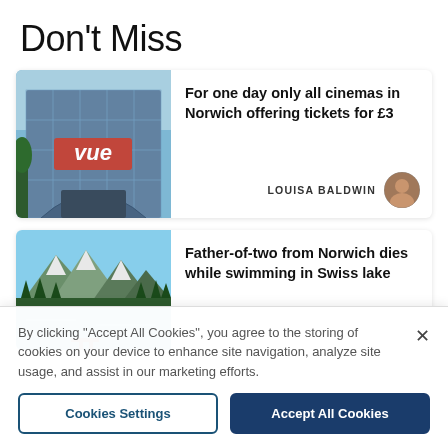Don't Miss
[Figure (screenshot): Article card: Vue cinema building exterior with Vue logo. Headline: For one day only all cinemas in Norwich offering tickets for £3. Author: LOUISA BALDWIN with circular profile photo.]
[Figure (screenshot): Article card: Swiss alpine lake with mountains and trees. Headline: Father-of-two from Norwich dies while swimming in Swiss lake.]
By clicking "Accept All Cookies", you agree to the storing of cookies on your device to enhance site navigation, analyze site usage, and assist in our marketing efforts.
Cookies Settings
Accept All Cookies